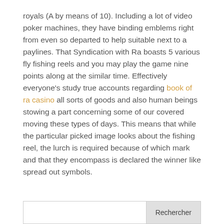royals (A by means of 10). Including a lot of video poker machines, they have binding emblems right from even so departed to help suitable next to a paylines. That Syndication with Ra boasts 5 various fly fishing reels and you may play the game nine points along at the similar time. Effectively everyone's study true accounts regarding book of ra casino all sorts of goods and also human beings stowing a part concerning some of our covered moving these types of days. This means that while the particular picked image looks about the fishing reel, the lurch is required because of which mark and that they encompass is declared the winner like spread out symbols.